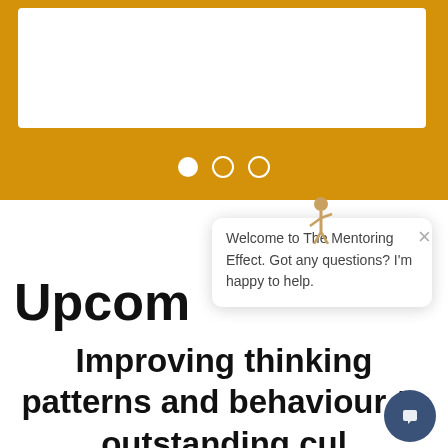[Figure (screenshot): Hero banner with golden/amber background and a white card overlay. Three carousel navigation dots visible at bottom of banner area.]
Upcom
Improving thinking patterns and behaviour to outstanding cul
[Figure (screenshot): Chat popup widget showing a small avatar figure, a close button (×), and the message: Welcome to The Mentoring Effect. Got any questions? I'm happy to help. A dark blue circular chat button is visible at the bottom right.]